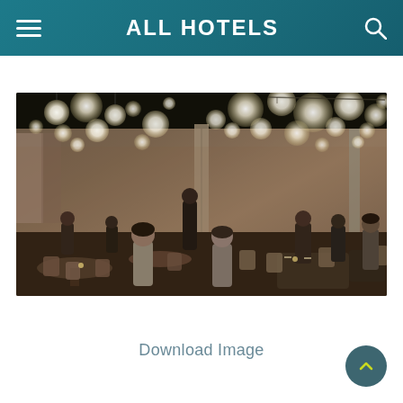ALL HOTELS
[Figure (photo): Restaurant/dining room interior with people seated at tables, warm ambient lighting from large round globe pendant lights hanging from ceiling, servers attending guests, warm earthy tones in decor]
Download Image